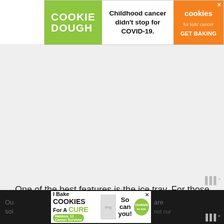[Figure (other): Cookie Dough advertisement banner: 'Childhood cancer didn't stop for COVID-19.' with Cookies for Kids' Cancer logo and 'GET BAKING' call to action]
One of the best features is the ice tray. For those times, when you want an even colder airflow, the top try can be filled with ice to help lower the temperature.
The included remote control allows you to control the unit from up to 30 feet away, keeping you closer to your task. In the garage, the unit will cool up to 300 square feet.
[Figure (other): I Bake Cookies For A Cure advertisement banner with Haldora, 11 Cancer Survivor, So can you! Cookies for Kids' Cancer logo]